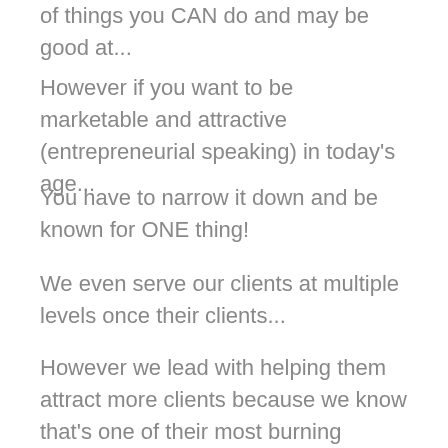of things you CAN do and may be good at...
However if you want to be marketable and attractive (entrepreneurial speaking) in today's age...
You have to narrow it down and be known for ONE thing!
We even serve our clients at multiple levels once their clients...
However we lead with helping them attract more clients because we know that's one of their most burning problems that we can help them solve for them first and quickly.
What's one of your geniuses that you're